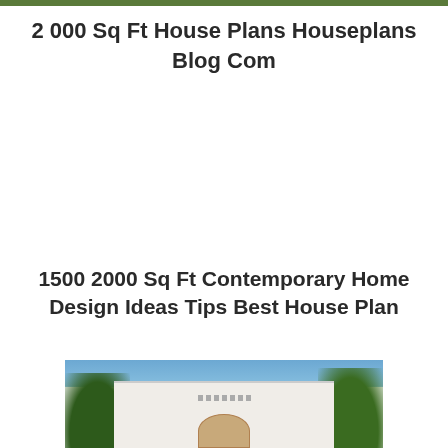2 000 Sq Ft House Plans Houseplans Blog Com
1500 2000 Sq Ft Contemporary Home Design Ideas Tips Best House Plan
[Figure (photo): Photograph of a contemporary white single-story house with a rounded entrance canopy, decorative wall details, and tropical trees in the background]